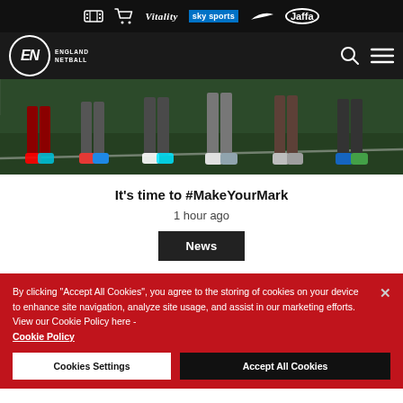Vitality sky sports Nike Jaffa (sponsor logos top bar)
[Figure (logo): England Netball logo — EN in circle with ENGLAND NETBALL text]
[Figure (photo): Netball players' feet and legs on an outdoor court, lower portion of the image showing colourful trainers on green artificial turf]
It's time to #MakeYourMark
1 hour ago
News
By clicking "Accept All Cookies", you agree to the storing of cookies on your device to enhance site navigation, analyze site usage, and assist in our marketing efforts. View our Cookie Policy here - Cookie Policy
Cookies Settings
Accept All Cookies